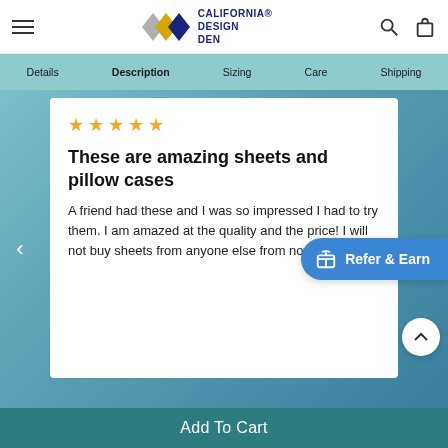California Design Den — navigation header with hamburger menu, logo, search and cart icons
Details | Description | Sizing | Care | Shipping
[Figure (screenshot): Star rating: 5 gold stars]
These are amazing sheets and pillow cases
A friend had these and I was so impressed I had to try them. I am amazed at the quality and the price! I will not buy sheets from anyone else from now on.
Add To Cart